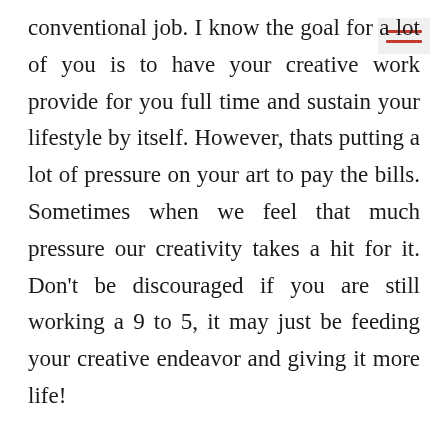conventional job. I know the goal for a lot of you is to have your creative work provide for you full time and sustain your lifestyle by itself. However, thats putting a lot of pressure on your art to pay the bills. Sometimes when we feel that much pressure our creativity takes a hit for it. Don't be discouraged if you are still working a 9 to 5, it may just be feeding your creative endeavor and giving it more life!
These are only a few of the amazing words of wisdom you will find in Big Magic. I invite you